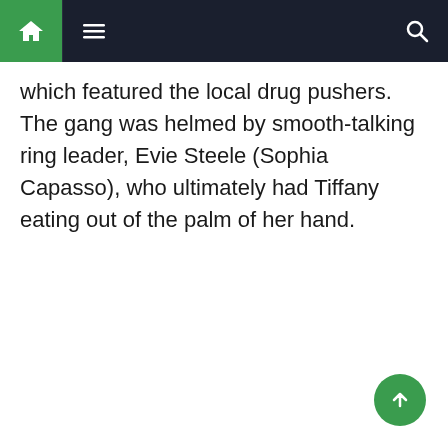Navigation bar with home, menu, and search icons
which featured the local drug pushers. The gang was helmed by smooth-talking ring leader, Evie Steele (Sophia Capasso), who ultimately had Tiffany eating out of the palm of her hand.